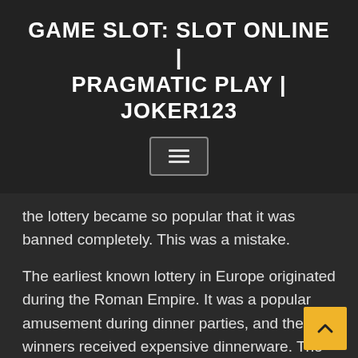GAME SLOT: SLOT ONLINE | PRAGMATIC PLAY | JOKER123
the lottery became so popular that it was banned completely. This was a mistake.
The earliest known lottery in Europe originated during the Roman Empire. It was a popular amusement during dinner parties, and the winners received expensive dinnerware. The lottery was widely popular and was considered a painless taxation. The oldest continuously running lottery, the Staatsloterij, started in 1726, is the oldest known lottery. Throughout history, the word